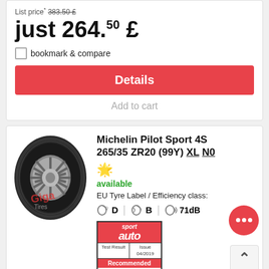List price* 383.50 £
just 264.50 £
bookmark & compare
Details
Add to cart
[Figure (photo): Michelin Pilot Sport 4S tire product photo with Giga Tires watermark]
Michelin Pilot Sport 4S 265/35 ZR20 (99Y) XL N0
available
EU Tyre Label / Efficiency class:
D | B | 71dB
[Figure (logo): Sport Auto magazine award badge: Test Result Issue 04/2019, Recommended, MICHELIN Pilot Sport 4 S 245/30 R 20 Y]